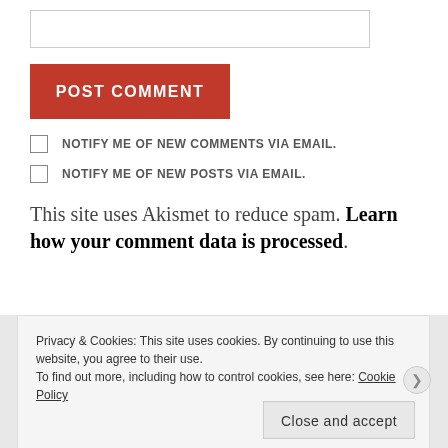[input box]
POST COMMENT
NOTIFY ME OF NEW COMMENTS VIA EMAIL.
NOTIFY ME OF NEW POSTS VIA EMAIL.
This site uses Akismet to reduce spam. Learn how your comment data is processed.
Privacy & Cookies: This site uses cookies. By continuing to use this website, you agree to their use.
To find out more, including how to control cookies, see here: Cookie Policy
Close and accept